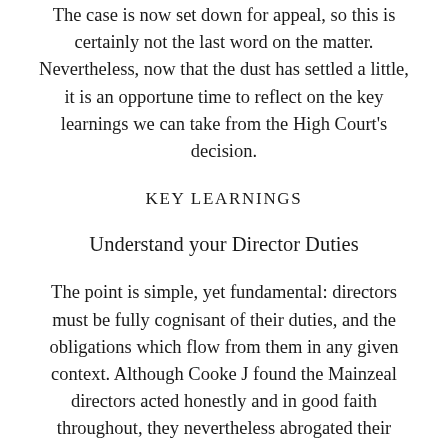The case is now set down for appeal, so this is certainly not the last word on the matter. Nevertheless, now that the dust has settled a little, it is an opportune time to reflect on the key learnings we can take from the High Court's decision.
KEY LEARNINGS
Understand your Director Duties
The point is simple, yet fundamental: directors must be fully cognisant of their duties, and the obligations which flow from them in any given context. Although Cooke J found the Mainzeal directors acted honestly and in good faith throughout, they nevertheless abrogated their responsibilities in several key respects. Alarmingly, Cooke J's recital of the minutes from a 2010 Mainzeal board meeting